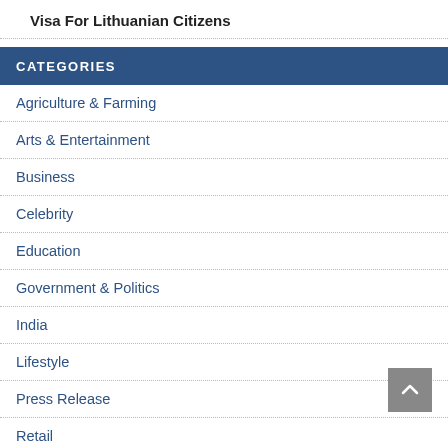Visa For Lithuanian Citizens
CATEGORIES
Agriculture & Farming
Arts & Entertainment
Business
Celebrity
Education
Government & Politics
India
Lifestyle
Press Release
Retail
Science
Shopping